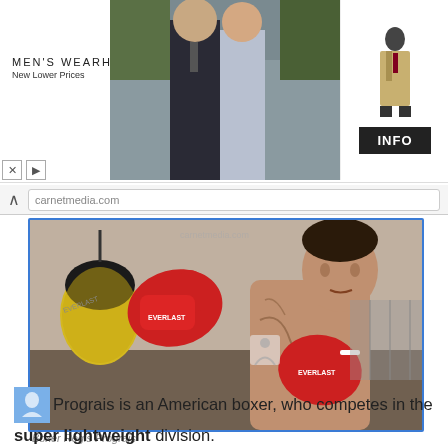[Figure (screenshot): Men's Wearhouse advertisement banner with couple in formal wear and man in tan suit, with INFO button]
[Figure (photo): Boxer Regis Prograis training with red Everlast boxing gloves, punching a speed bag outdoors]
Boxer Regis Prograis
Regis Prograis is an American boxer, who competes in the super lightweight division.